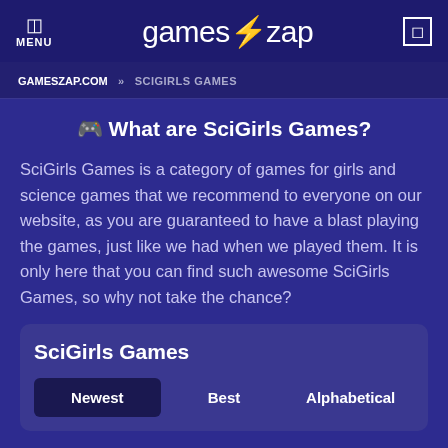MENU | games⚡zap
GAMESZAP.COM » SCIGIRLS GAMES
🎮 What are SciGirls Games?
SciGirls Games is a category of games for girls and science games that we recommend to everyone on our website, as you are guaranteed to have a blast playing the games, just like we had when we played them. It is only here that you can find such awesome SciGirls Games, so why not take the chance?
SciGirls Games
Newest | Best | Alphabetical